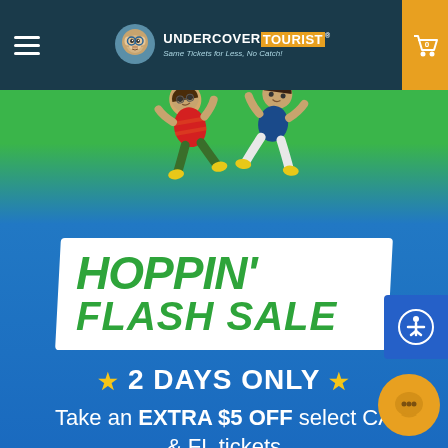Undercover Tourist - Same Tickets for Less, No Catch!
[Figure (illustration): Two jumping cartoon characters on a green background — a girl in red dress and a boy in blue shirt, both jumping joyfully]
HOPPIN' FLASH SALE
★ 2 DAYS ONLY ★
Take an EXTRA $5 OFF select CA & FL tickets
GET MY TICKETS